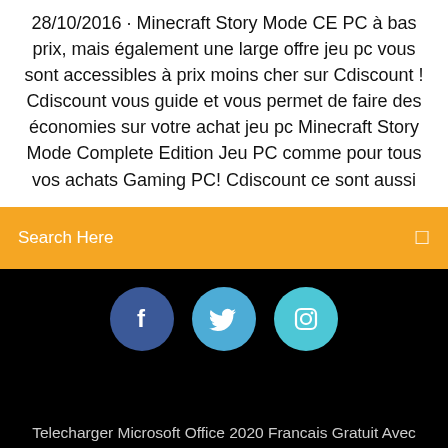28/10/2016 · Minecraft Story Mode CE PC à bas prix, mais également une large offre jeu pc vous sont accessibles à prix moins cher sur Cdiscount ! Cdiscount vous guide et vous permet de faire des économies sur votre achat jeu pc Minecraft Story Mode Complete Edition Jeu PC comme pour tous vos achats Gaming PC! Cdiscount ce sont aussi
Search Here
[Figure (illustration): Three social media icon circles: Facebook (dark blue, f), Twitter (light blue, bird), Instagram (light blue/teal, camera icon)]
Telecharger Microsoft Office 2020 Francais Gratuit Avec Crack
Vlc Mac Os High Sierra
Telecharger Jeux De Cartes Gratuits Freecell
Améliorer Un Enregistrement Audio En Ligne